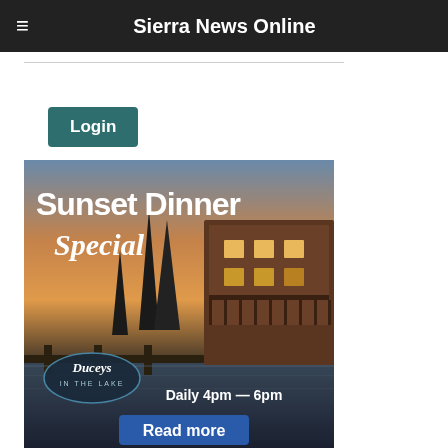Sierra News Online
Login
Remember Me
[Figure (illustration): Advertisement banner for Ducey's on the Lake showing a sunset dinner special promotion. Text reads 'Sunset Dinner Special' with 'Duceys IN THE LAKE' logo, 'Daily 4pm - 6pm', and 'Read more' button. Background shows a lakeside lodge at sunset with tall pine trees.]